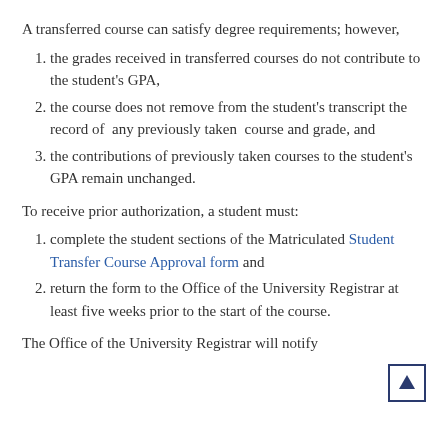A transferred course can satisfy degree requirements; however,
the grades received in transferred courses do not contribute to the student's GPA,
the course does not remove from the student's transcript the record of any previously taken course and grade, and
the contributions of previously taken courses to the student's GPA remain unchanged.
To receive prior authorization, a student must:
complete the student sections of the Matriculated Student Transfer Course Approval form and
return the form to the Office of the University Registrar at least five weeks prior to the start of the course.
The Office of the University Registrar will notify